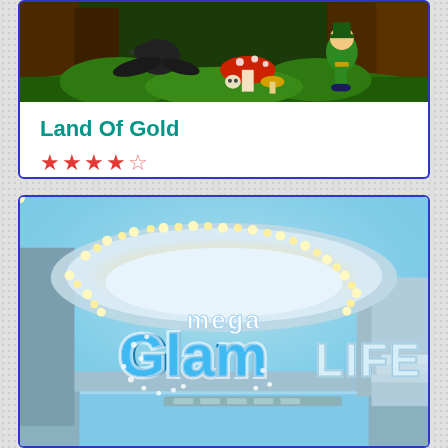[Figure (illustration): Card for 'Land Of Gold' slot game showing a fantasy forest scene with a mushroom, a crow/raven, and a leprechaun character in green.]
Land Of Gold
★★★★½ (4.5 star rating)
[Figure (illustration): Card for 'Mega Glam Life' slot game showing a luxury poolside setting with a large illuminated circular canopy, the logo 'mega Glam LIFE' in blue and silver letters.]
Mega Glam Life